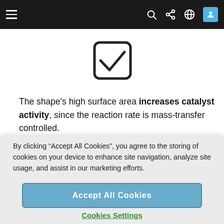[Figure (illustration): A checkbox icon (square with rounded corners and a checkmark inside) centered on the page]
The shape’s high surface area increases catalyst activity, since the reaction rate is mass-transfer controlled.
By clicking “Accept All Cookies”, you agree to the storing of cookies on your device to enhance site navigation, analyze site usage, and assist in our marketing efforts.
Accept All Cookies
Cookies Settings